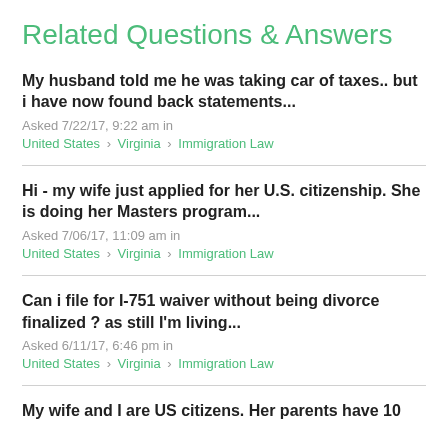Related Questions & Answers
My husband told me he was taking car of taxes.. but i have now found back statements...
Asked 7/22/17, 9:22 am in
United States > Virginia > Immigration Law
Hi - my wife just applied for her U.S. citizenship. She is doing her Masters program...
Asked 7/06/17, 11:09 am in
United States > Virginia > Immigration Law
Can i file for I-751 waiver without being divorce finalized ? as still I'm living...
Asked 6/11/17, 6:46 pm in
United States > Virginia > Immigration Law
My wife and I are US citizens. Her parents have 10